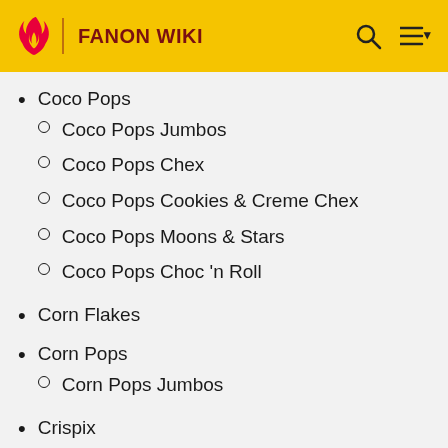FANON WIKI
Coco Pops
Coco Pops Jumbos
Coco Pops Chex
Coco Pops Cookies & Creme Chex
Coco Pops Moons & Stars
Coco Pops Choc 'n Roll
Corn Flakes
Corn Pops
Corn Pops Jumbos
Crispix
Crunchy Nut
Disney Cereals
Extra
Froot Loops